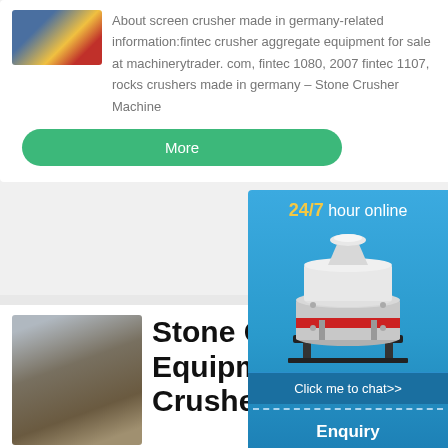[Figure (photo): Industrial machinery/factory equipment photo with yellow and red elements]
About screen crusher made in germany-related information:fintec crusher aggregate equipment for sale at machinerytrader. com, fintec 1080, 2007 fintec 1107, rocks crushers made in germany – Stone Crusher Machine
More
[Figure (photo): Stone crusher equipment machinery aerial/ground view photo]
Stone Crusher Equipment Crusher Ma…
[Figure (infographic): 24/7 hour online chat sidebar popup with cone crusher image, Chat button, Enquiry button, and email address]
24/7 hour online
Click me to chat>>
Enquiry
cvvvaitml@gmail...